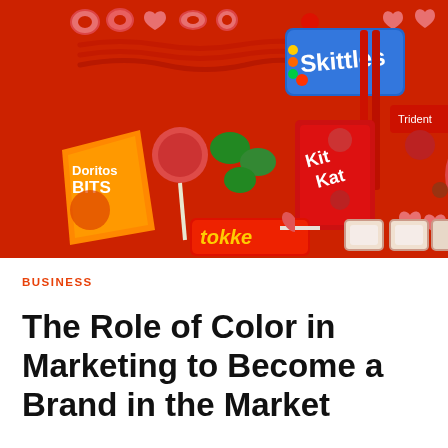[Figure (photo): Flat lay photograph of various red-colored snack and candy products arranged on a bright red background, including Skittles, Doritos Bits, Kit Kat, Trident gum, Tokke snacks, and assorted red candies and licorice.]
BUSINESS
The Role of Color in Marketing to Become a Brand in the Market